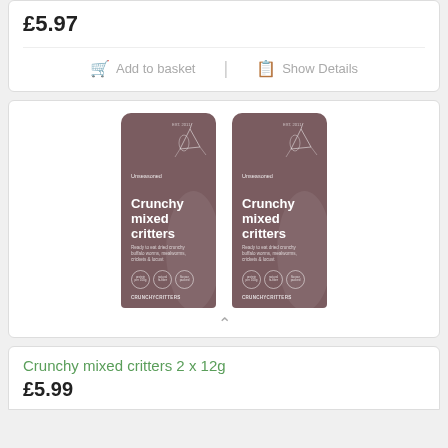£5.97
Add to basket | Show Details
[Figure (photo): Two identical brown packages of 'Crunchy mixed critters' insect snacks by CrunchyCritters, showing the product packaging side by side]
Crunchy mixed critters 2 x 12g
£5.99